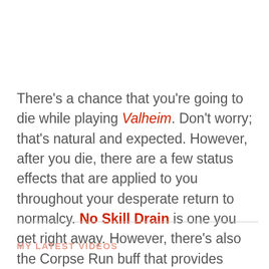There's a chance that you're going to die while playing Valheim. Don't worry; that's natural and expected. However, after you die, there are a few status effects that are applied to you throughout your desperate return to normalcy. No Skill Drain is one you get right away. However, there's also the Corpse Run buff that provides powerful but short-term affects. So, what is this buff, and what does it actually do?
MY LATEST VIDEOS